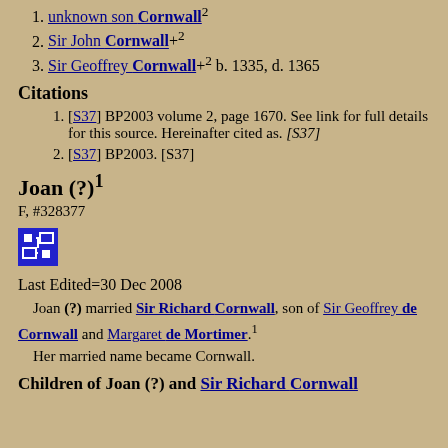unknown son Cornwall² (link)
Sir John Cornwall+² (link)
Sir Geoffrey Cornwall+² b. 1335, d. 1365 (link)
Citations
[S37] BP2003 volume 2, page 1670. See link for full details for this source. Hereinafter cited as. [S37]
[S37] BP2003. [S37]
Joan (?)¹
F, #328377
[Figure (other): Small blue icon box showing a family tree/pedigree chart symbol with linked boxes]
Last Edited=30 Dec 2008
Joan (?) married Sir Richard Cornwall, son of Sir Geoffrey de Cornwall and Margaret de Mortimer.¹ Her married name became Cornwall.
Children of Joan (?) and Sir Richard Cornwall